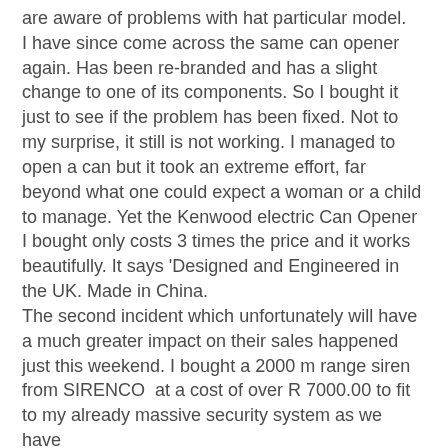are aware of problems with hat particular model. I have since come across the same can opener again. Has been re-branded and has a slight change to one of its components. So I bought it just to see if the problem has been fixed. Not to my surprise, it still is not working. I managed to open a can but it took an extreme effort, far beyond what one could expect a woman or a child to manage. Yet the Kenwood electric Can Opener I bought only costs 3 times the price and it works beautifully. It says 'Designed and Engineered in the UK. Made in China. The second incident which unfortunately will have a much greater impact on their sales happened just this weekend. I bought a 2000 m range siren from SIRENCO  at a cost of over R 7000.00 to fit to my already massive security system as we have residential burglaries and robberies (that is when the thugs break into your home while you are inside and rape the women and kill everybody who does not comply) at an ever increasing frequency. Just last Sunday they broke into my Neighbors house for the seventh time, while she was out, thankfully.